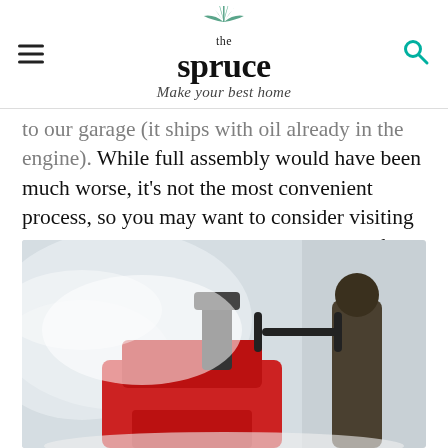the spruce — Make your best home
to our garage (it ships with oil already in the engine). While full assembly would have been much worse, it's not the most convenient process, so you may want to consider visiting your local big box hardware store to see if they have it preassembled.
[Figure (photo): Person operating a red snow blower throwing snow, close-up view in snowy conditions]